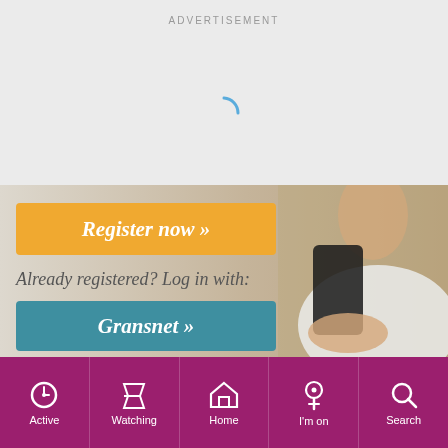ADVERTISEMENT
[Figure (screenshot): Loading spinner arc in blue on light grey background]
[Figure (screenshot): Registration banner with orange 'Register now »' button, italic text 'Already registered? Log in with:', teal 'Gransnet »' button, and photo of woman holding smartphone on right side]
ADVERTISEMENT
[Figure (other): Pink/magenta mobile navigation bar with icons: Active (clock), Watching (filter), Home (house), I'm on (pin), Search (magnifier)]